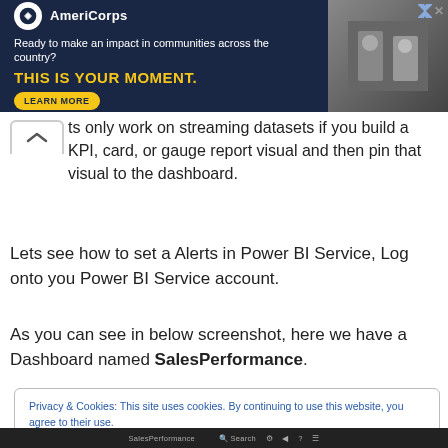[Figure (screenshot): AmeriCorps advertisement banner with dark navy background, AmeriCorps logo, tagline 'Ready to make an impact in communities across the country?', headline 'THIS IS YOUR MOMENT.' in yellow, LEARN MORE button, and photo of people on right side.]
ts only work on streaming datasets if you build a KPI, card, or gauge report visual and then pin that visual to the dashboard.
Lets see how to set a Alerts in Power BI Service, Log onto you Power BI Service account.
As you can see in below screenshot, here we have a Dashboard named SalesPerformance.
Privacy & Cookies: This site uses cookies. By continuing to use this website, you agree to their use.
To find out more, including how to control cookies, see here: Cookie Policy
SalesPerformance